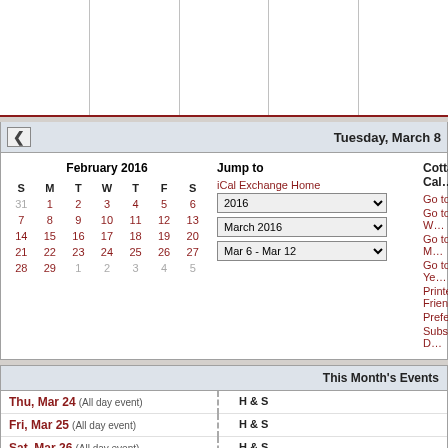[Figure (screenshot): Top portion of a weekly calendar grid showing empty cells for days of the week]
Tuesday, March 8
[Figure (other): February 2016 mini calendar with days S M T W T F S and dates 31-5, 7-13, 14-20, 21-27, 28-5]
Jump to
iCal Exchange Home
2016 (dropdown)
March 2016 (dropdown)
Mar 6 - Mar 12 (dropdown)
Cottage Cal
Go to Today
Go to This W
Go to This M
Go to This Ye
Printer Frien
Preferences
Subscribe | D
| This Month's Events |  |
| --- | --- |
| Thu, Mar 24 (All day event) | H & S |
| Fri, Mar 25 (All day event) | H & S |
| Sat, Mar 26 (All day event) | H & S |
| Sun, Mar 27 (All day event) | H & S |
| Mon, Mar 28 (All day event) | H & S |
| Tue, Mar 29 (All day event) | H & S |
| Wed, Mar 30 (All day event) | H & S |
| Thu, Mar 31 (All day event) | H |
Powered by PHP iCalendar 0.9